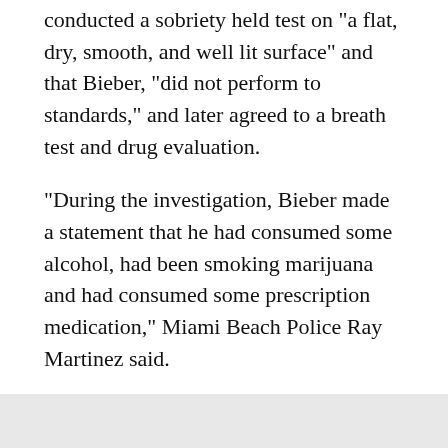conducted a sobriety held test on "a flat, dry, smooth, and well lit surface" and that Bieber, "did not perform to standards," and later agreed to a breath test and drug evaluation.
"During the investigation, Bieber made a statement that he had consumed some alcohol, had been smoking marijuana and had consumed some prescription medication," Miami Beach Police Ray Martinez said.
Raw Video From The Scene After The Arrest
The chief also noted that Bieber is under 21 and not allowed to drink anyway.